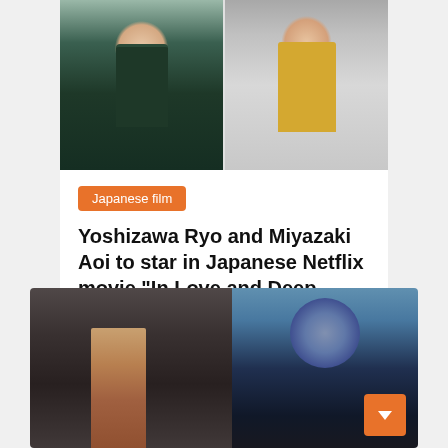[Figure (photo): Two portrait photos side by side: left shows a man in a dark green uniform jacket with a badge, right shows a woman with short hair wearing a yellow blouse, both against light gray backgrounds.]
Japanese film
Yoshizawa Ryo and Miyazaki Aoi to star in Japanese Netflix movie “In Love and Deep Water”
Marie A. Evans   July 4, 2022
[Figure (photo): Two images side by side: left shows a muscular shirtless dark-haired man in an action pose against a blurred industrial background, right shows a large dark creature/monster illustration with a white-clothed figure standing below it against a blue toned background.]